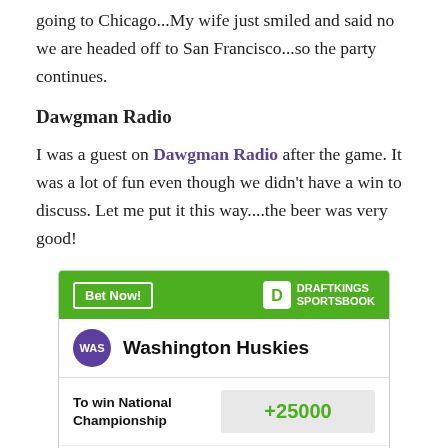going to Chicago...My wife just smiled and said no we are headed off to San Francisco...so the party continues.
Dawgman Radio
I was a guest on Dawgman Radio after the game. It was a lot of fun even though we didn't have a win to discuss. Let me put it this way....the beer was very good!
[Figure (other): DraftKings Sportsbook widget showing Washington Huskies odds: To win National Championship +25000, To win Pac-12 +1400]